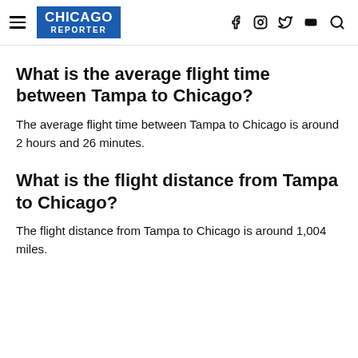CHICAGO REPORTER
What is the average flight time between Tampa to Chicago?
The average flight time between Tampa to Chicago is around 2 hours and 26 minutes.
What is the flight distance from Tampa to Chicago?
The flight distance from Tampa to Chicago is around 1,004 miles.